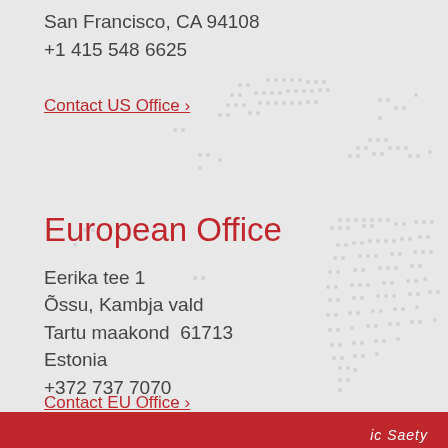San Francisco, CA 94108
+1 415 548 6625
Contact US Office ›
European Office
Eerika tee 1
Õssu, Kambja vald
Tartu maakond  61713
Estonia
+372 737 7070
Contact EU Office ›
ic Saety